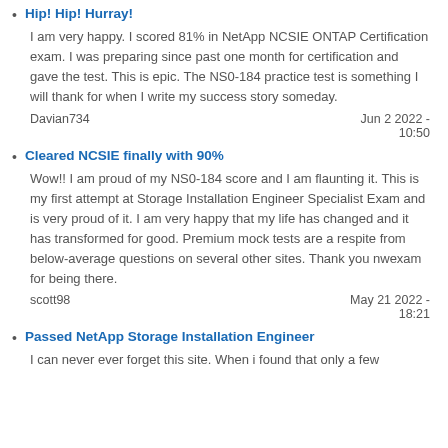Hip! Hip! Hurray!
I am very happy. I scored 81% in NetApp NCSIE ONTAP Certification exam. I was preparing since past one month for certification and gave the test. This is epic. The NS0-184 practice test is something I will thank for when I write my success story someday.
Davian734		Jun 2 2022 - 10:50
Cleared NCSIE finally with 90%
Wow!! I am proud of my NS0-184 score and I am flaunting it. This is my first attempt at Storage Installation Engineer Specialist Exam and is very proud of it. I am very happy that my life has changed and it has transformed for good. Premium mock tests are a respite from below-average questions on several other sites. Thank you nwexam for being there.
scott98		May 21 2022 - 18:21
Passed NetApp Storage Installation Engineer
I can never ever forget this site. When i found that only a few